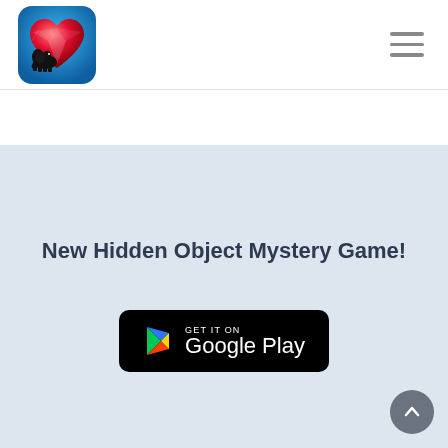[Figure (logo): App logo: red crystal heart with black elephant silhouette on blue background]
[Figure (illustration): Hamburger menu icon (three horizontal lines)]
New Hidden Object Mystery Game!
[Figure (logo): GET IT ON Google Play badge with Google Play triangle logo]
[Figure (illustration): Back-to-top chevron button (grey circle with up arrow)]